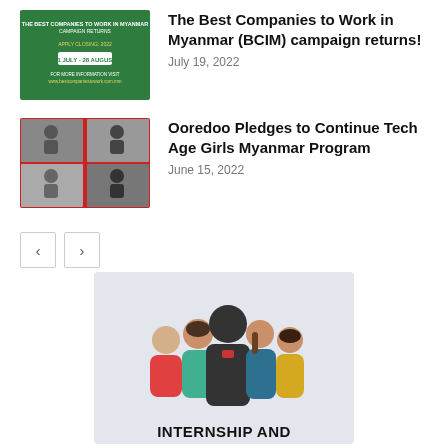[Figure (photo): Green banner for BCIM campaign with white text and button]
The Best Companies to Work in Myanmar (BCIM) campaign returns!
July 19, 2022
[Figure (photo): Photo grid of students working on tech activities, red bordered collage]
Ooredoo Pledges to Continue Tech Age Girls Myanmar Program
June 15, 2022
< >
[Figure (illustration): Illustration of five people standing together above the text INTERNSHIP AND on a light blue/gray background]